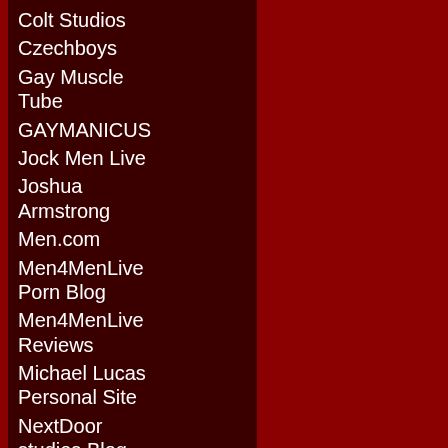Colt Studios
Czechboys
Gay Muscle Tube
GAYMANICUS
Jock Men Live
Joshua Armstrong
Men.com
Men4MenLive Porn Blog
Men4MenLive Reviews
Michael Lucas Personal Site
NextDoor studios Blog
Sean Cody
Great Gay Blogs